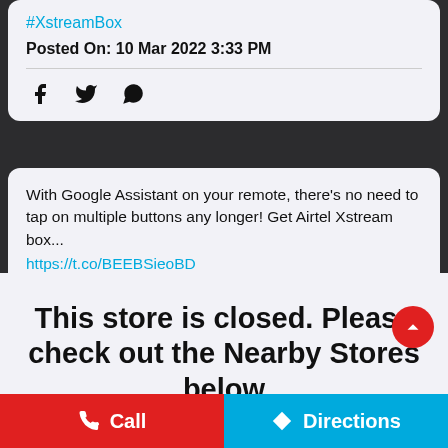#XstreamBox
Posted On: 10 Mar 2022 3:33 PM
[Figure (other): Social share icons: Facebook, Twitter, WhatsApp]
With Google Assistant on your remote, there's no need to tap on multiple buttons any longer! Get Airtel Xstream box...
https://t.co/BEEBSieoBD
This store is closed. Please check out the Nearby Stores below
From parties & politics to exams & life lessons, the all new Lionsgate Play original Jugaadistan recreates
Call
Directions